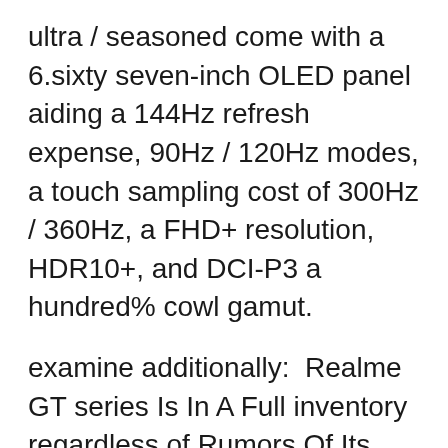ultra / seasoned come with a 6.sixty seven-inch OLED panel aiding a 144Hz refresh expense, 90Hz / 120Hz modes, a touch sampling cost of 300Hz / 360Hz, a FHD+ resolution, HDR10+, and DCI-P3 a hundred% cowl gamut.
examine additionally:  Realme GT series Is In A Full inventory regardless of Rumors Of Its brief supply
The display is fabulous, but the digicam is the greatest spotlight. The extremely variant sports a triple 64MP digicam mixture. The leading sensor is a Sony IMX686 sensor that includes OIS and an f/1.6 aperture; a further 64MP module characteristic a somewhat